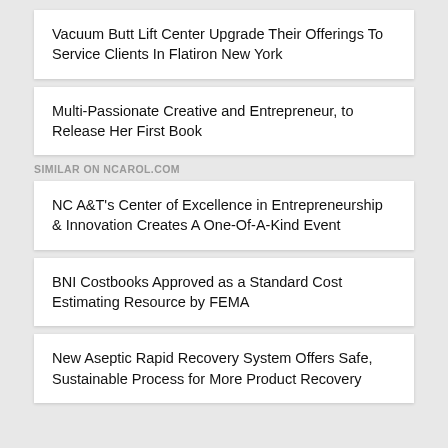Vacuum Butt Lift Center Upgrade Their Offerings To Service Clients In Flatiron New York
Multi-Passionate Creative and Entrepreneur, to Release Her First Book
SIMILAR ON NCAROL.COM
NC A&T's Center of Excellence in Entrepreneurship & Innovation Creates A One-Of-A-Kind Event
BNI Costbooks Approved as a Standard Cost Estimating Resource by FEMA
New Aseptic Rapid Recovery System Offers Safe, Sustainable Process for More Product Recovery